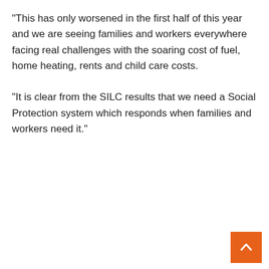“This has only worsened in the first half of this year and we are seeing families and workers everywhere facing real challenges with the soaring cost of fuel, home heating, rents and child care costs.
“It is clear from the SILC results that we need a Social Protection system which responds when families and workers need it.”